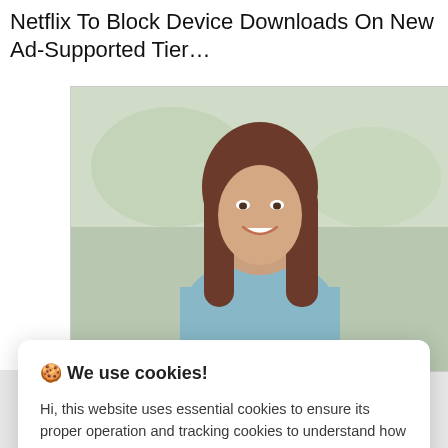Netflix To Block Device Downloads On New Ad-Supported Tier…
[Figure (photo): A smiling woman with long brown hair wearing a light blue top, photographed outdoors.]
🍪 We use cookies!
Hi, this website uses essential cookies to ensure its proper operation and tracking cookies to understand how you interact with it. The latter will be set only after consent. Let me choose
Accept all
Reject all